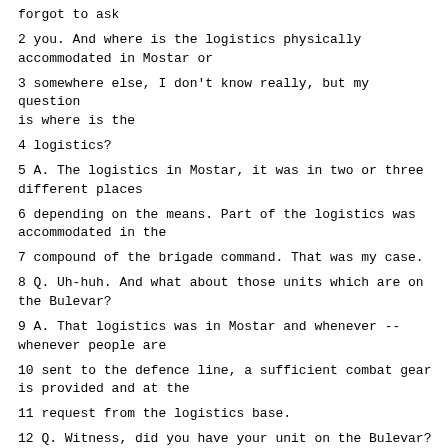forgot to ask
2 you. And where is the logistics physically accommodated in Mostar or
3 somewhere else, I don't know really, but my question is where is the
4 logistics?
5 A. The logistics in Mostar, it was in two or three different places
6 depending on the means. Part of the logistics was accommodated in the
7 compound of the brigade command. That was my case.
8 Q. Uh-huh. And what about those units which are on the Bulevar?
9 A. That logistics was in Mostar and whenever -- whenever people are
10 sent to the defence line, a sufficient combat gear is provided and at the
11 request from the logistics base.
12 Q. Witness, did you have your unit on the Bulevar?
13 A. Yes, during the period under consideration, I had